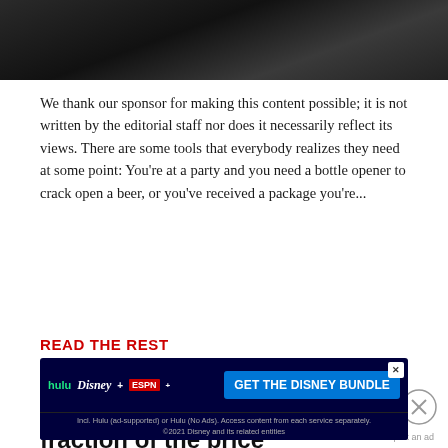[Figure (photo): Dark background photo strip, appears to be a dark surface or device in dim lighting]
We thank our sponsor for making this content possible; it is not written by the editorial staff nor does it necessarily reflect its views. There are some tools that everybody realizes they need at some point: You're at a party and you need a bottle opener to crack open a beer, or you've received a package you're...
READ THE REST
Move over, pricey laptops — this tablet does it all for a fraction of the price
[Figure (screenshot): Disney Bundle advertisement banner showing Hulu, Disney+, and ESPN+ logos with 'GET THE DISNEY BUNDLE' call-to-action button on dark blue background. Includes disclaimer: Incl. Hulu (ad-supported) or Hulu (No Ads). Access content from each service separately. ©2021 Disney and its related entities]